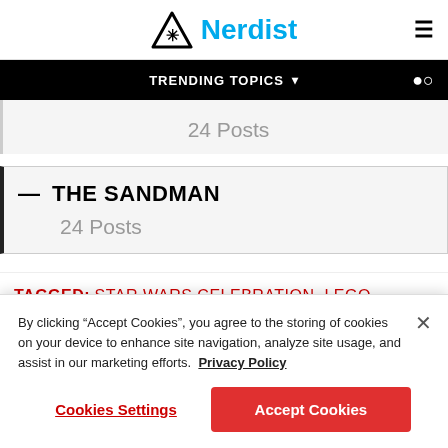Nerdist
TRENDING TOPICS
24 Posts
THE SANDMAN
24 Posts
TAGGED: STAR WARS CELEBRATION, LEGO,
By clicking "Accept Cookies", you agree to the storing of cookies on your device to enhance site navigation, analyze site usage, and assist in our marketing efforts. Privacy Policy
Cookies Settings
Accept Cookies